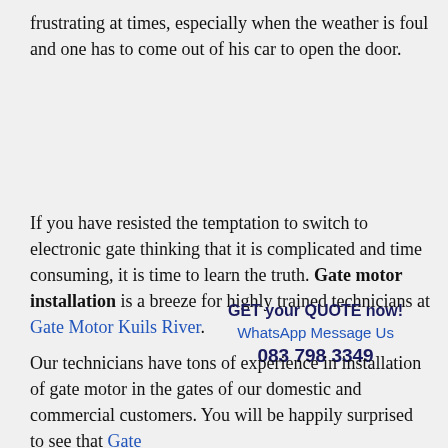frustrating at times, especially when the weather is foul and one has to come out of his car to open the door.
If you have resisted the temptation to switch to electronic gate thinking that it is complicated and time consuming, it is time to learn the truth. Gate motor installation is a breeze for highly trained technicians at Gate Motor Kuils River.
GET your QUOTE now!
WhatsApp Message Us
083 798 3349
Our technicians have tons of experience in installation of gate motor in the gates of our domestic and commercial customers. You will be happily surprised to see that Gate